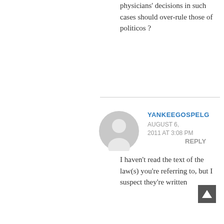physicians' decisions in such cases should over-rule those of politicos ?
YANKEEGOSPELG
AUGUST 6, 2011 AT 3:08 PM
REPLY
I haven't read the text of the law(s) you're referring to, but I suspect they're written